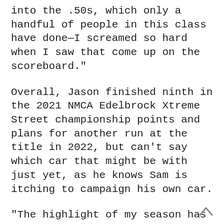into the .50s, which only a handful of people in this class have done—I screamed so hard when I saw that come up on the scoreboard."
Overall, Jason finished ninth in the 2021 NMCA Edelbrock Xtreme Street championship points and plans for another run at the title in 2022, but can't say which car that might be with just yet, as he knows Sam is itching to campaign his own car.
"The highlight of my season has been meeting all the awesome people that race in our class and hanging out every night," added Mike, who tries his best to never miss a race and is often joined by Sam when his son isn't busy working as a union pipefitter. "We have a new motor in the works, but it's a bit of a secret for now,